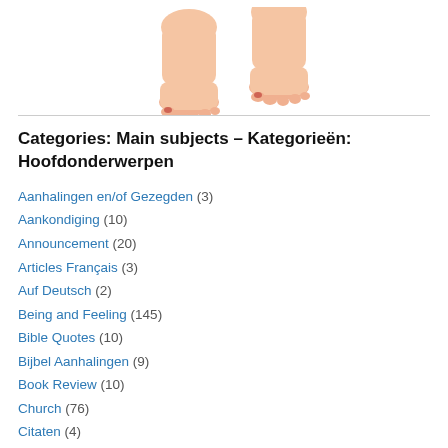[Figure (photo): Cropped photo showing two human feet/legs from below the knee, walking or stepping, on a white background.]
Categories: Main subjects – Kategorieën: Hoofdonderwerpen
Aanhalingen en/of Gezegden (3)
Aankondiging (10)
Announcement (20)
Articles Français (3)
Auf Deutsch (2)
Being and Feeling (145)
Bible Quotes (10)
Bijbel Aanhalingen (9)
Book Review (10)
Church (76)
Citaten (4)
Creator God (168)